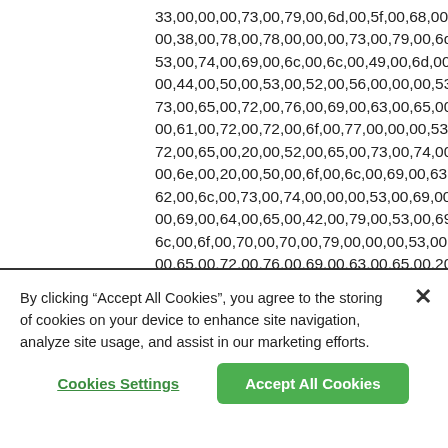33,00,00,00,73,00,79,00,6d,00,5f,00,68,00,69
00,38,00,78,00,78,00,00,00,73,00,79,00,6d,0(
53,00,74,00,69,00,6c,00,6c,00,49,00,6d,00,61
00,44,00,50,00,53,00,52,00,56,00,00,00,53,0(
73,00,65,00,72,00,76,00,69,00,63,00,65,00,0(
00,61,00,72,00,72,00,6f,00,77,00,00,00,53,00
72,00,65,00,20,00,52,00,65,00,73,00,74,00,72;
00,6e,00,20,00,50,00,6f,00,6c,00,69,00,63,00
62,00,6c,00,73,00,74,00,00,00,53,00,69,00,6(
00,69,00,64,00,65,00,42,00,79,00,53,00,69,0(
6c,00,6f,00,70,00,70,00,79,00,00,00,53,00,65
00,65,00,72,00,76,00,69,00,63,00,65,00,20,0(
6f,00,6c,00,20,00,4d,00,61,00,6e,00,61,00,67
00,72,00,76,00,65,00,72,00,00,00,73,00,65,0(
73,00,63,00,73,00,69,00,70,00,6f,00,72,00,74
By clicking "Accept All Cookies", you agree to the storing of cookies on your device to enhance site navigation, analyze site usage, and assist in our marketing efforts.
Cookies Settings
Accept All Cookies